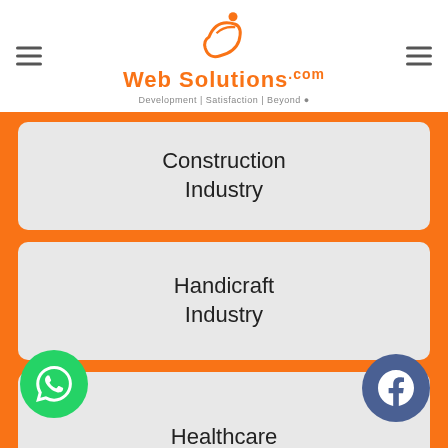[Figure (logo): WebSolutions.com logo with orange swoosh icon and tagline 'Development | Satisfaction | Beyond']
Construction Industry
Handicraft Industry
Healthcare